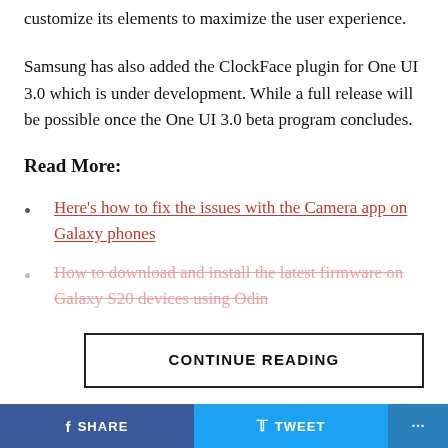customize its elements to maximize the user experience.
Samsung has also added the ClockFace plugin for One UI 3.0 which is under development. While a full release will be possible once the One UI 3.0 beta program concludes.
Read More:
Here's how to fix the issues with the Camera app on Galaxy phones
How to download and install the latest firmware on Galaxy S20 devices using Odin
CONTINUE READING
ADVERTISEMENT
SHARE   TWEET